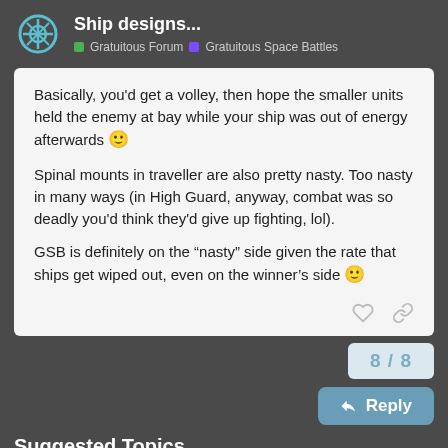Ship designs... | Gratuitous Forum | Gratuitous Space Battles
Basically, you'd get a volley, then hope the smaller units held the enemy at bay while your ship was out of energy afterwards 🙂

Spinal mounts in traveller are also pretty nasty. Too nasty in many ways (in High Guard, anyway, combat was so deadly you'd think they'd give up fighting, lol).

GSB is definitely on the “nasty” side given the rate that ships get wiped out, even on the winner’s side 🙂
8 / 8
Reply
Suggested Topics
Does This Link From D3 Carry Over?